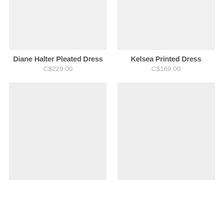[Figure (photo): Product image placeholder for Diane Halter Pleated Dress - light gray rectangle]
[Figure (photo): Product image placeholder for Kelsea Printed Dress - light gray rectangle]
Diane Halter Pleated Dress
C$229.00
Kelsea Printed Dress
C$169.00
[Figure (photo): Product image placeholder bottom left - light gray rectangle]
[Figure (photo): Product image placeholder bottom right - light gray rectangle]